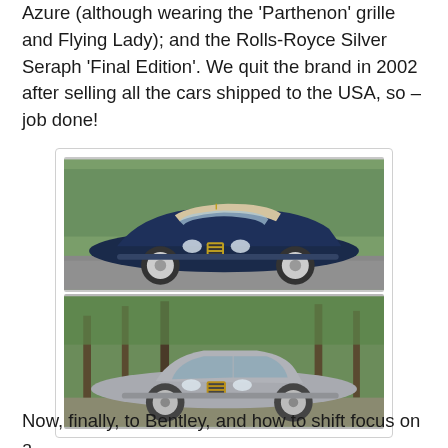Azure (although wearing the 'Parthenon' grille and Flying Lady); and the Rolls-Royce Silver Seraph 'Final Edition'. We quit the brand in 2002 after selling all the cars shipped to the USA, so – job done!
[Figure (photo): Two photographs of Rolls-Royce cars: top image shows a dark navy blue Rolls-Royce Azure convertible (open top) parked on a road with trees/green background; bottom image shows a silver/grey Rolls-Royce Silver Seraph sedan parked in a wooded area with trees in background.]
Now, finally, to Bentley, and how to shift focus on a